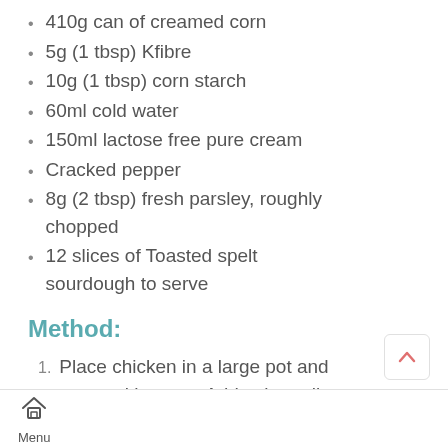410g can of creamed corn
5g (1 tbsp) Kfibre
10g (1 tbsp) corn starch
60ml cold water
150ml lactose free pure cream
Cracked pepper
8g (2 tbsp) fresh parsley, roughly chopped
12 slices of Toasted spelt sourdough to serve
Method:
Place chicken in a large pot and cover with water. Add salt, garlic
Menu